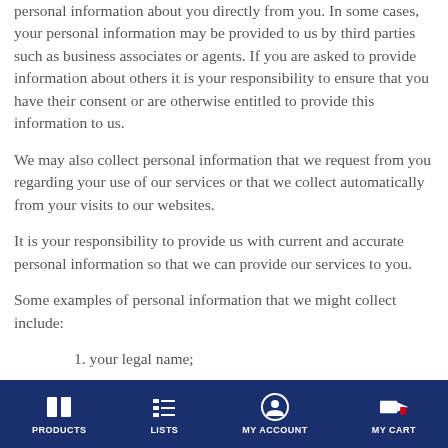personal information about you directly from you. In some cases, your personal information may be provided to us by third parties such as business associates or agents. If you are asked to provide information about others it is your responsibility to ensure that you have their consent or are otherwise entitled to provide this information to us.
We may also collect personal information that we request from you regarding your use of our services or that we collect automatically from your visits to our websites.
It is your responsibility to provide us with current and accurate personal information so that we can provide our services to you.
Some examples of personal information that we might collect include:
1. your legal name;
2. your business and trading names;
PRODUCTS | LISTS | MY ACCOUNT | MY CART